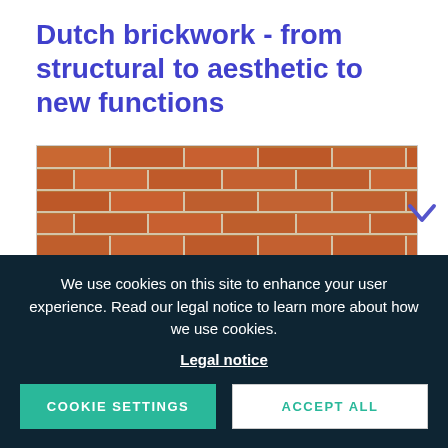Dutch brickwork - from structural to aesthetic to new functions
[Figure (photo): Close-up perspective view of Dutch red brickwork with gray mortar joints]
We use cookies on this site to enhance your user experience. Read our legal notice to learn more about how we use cookies.
Legal notice
COOKIE SETTINGS
ACCEPT ALL